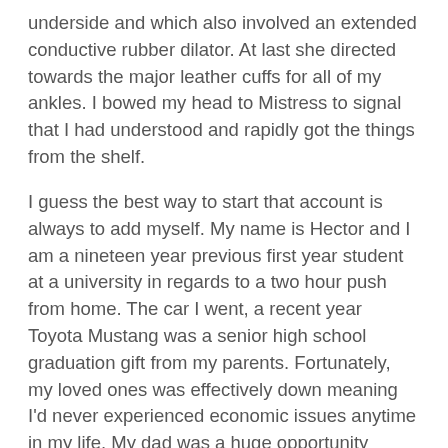underside and which also involved an extended conductive rubber dilator. At last she directed towards the major leather cuffs for all of my ankles. I bowed my head to Mistress to signal that I had understood and rapidly got the things from the shelf.
I guess the best way to start that account is always to add myself. My name is Hector and I am a nineteen year previous first year student at a university in regards to a two hour push from home. The car I went, a recent year Toyota Mustang was a senior high school graduation gift from my parents. Fortunately, my loved ones was effectively down meaning I'd never experienced economic issues anytime in my life. My dad was a huge opportunity lawyer Live Porn Cams For Free  who had rarely been home when I was rising up. Father had devoted his life to attaining wealth through his career. Alexandros, often resolved as Alex, was a large, formerly well developed man of Greek heritage. Over time, Dad had morphed right into a fat slob and a drunk. My mother, Angelika, also of Greek history, has been the actual antithesis of my father. Mom was committed to our extended family, myself, and our home. Even though pushing forty